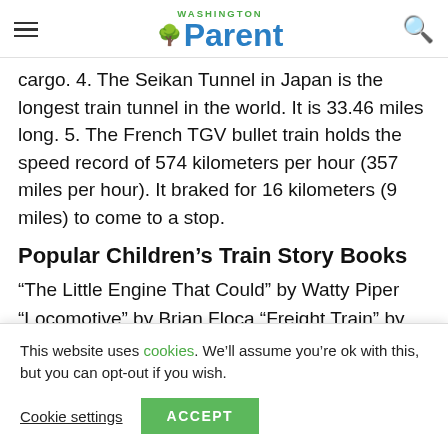Washington Parent
cargo. 4. The Seikan Tunnel in Japan is the longest train tunnel in the world. It is 33.46 miles long. 5. The French TGV bullet train holds the speed record of 574 kilometers per hour (357 miles per hour). It braked for 16 kilometers (9 miles) to come to a stop.
Popular Children's Train Story Books
“The Little Engine That Could” by Watty Piper
“Locomotive” by Brian Floca “Freight Train” by Donald Crews “The Polar Express” by Chris Van Allsburg “The...
This website uses cookies. We’ll assume you’re ok with this, but you can opt-out if you wish.